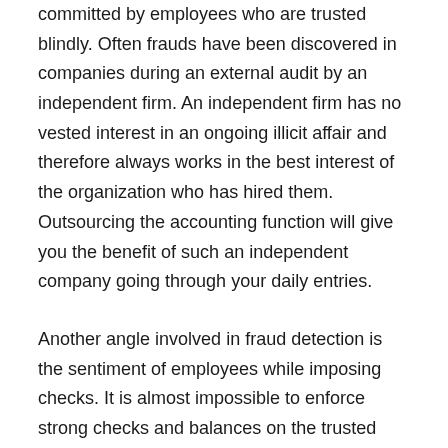committed by employees who are trusted blindly. Often frauds have been discovered in companies during an external audit by an independent firm. An independent firm has no vested interest in an ongoing illicit affair and therefore always works in the best interest of the organization who has hired them. Outsourcing the accounting function will give you the benefit of such an independent company going through your daily entries.
Another angle involved in fraud detection is the sentiment of employees while imposing checks. It is almost impossible to enforce strong checks and balances on the trusted employee. This can lead to sailing on tricky waters as honest employees may feel vindicated. This can be avoided by using an independent vendor to handle such situations. Imparting strong checks and balances becomes much easier by using an outsourced agency.